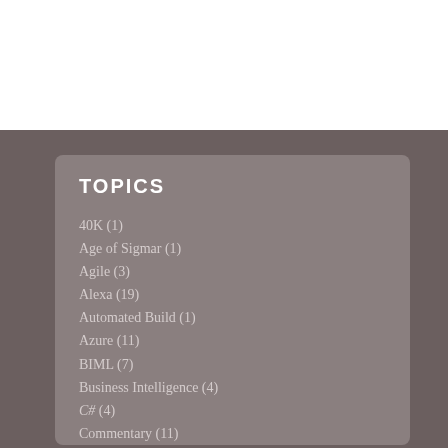TOPICS
40K (1)
Age of Sigmar (1)
Agile (3)
Alexa (19)
Automated Build (1)
Azure (11)
BIML (7)
Business Intelligence (4)
C# (4)
Commentary (11)
Data Factory v2 (7)
Debugging (2)